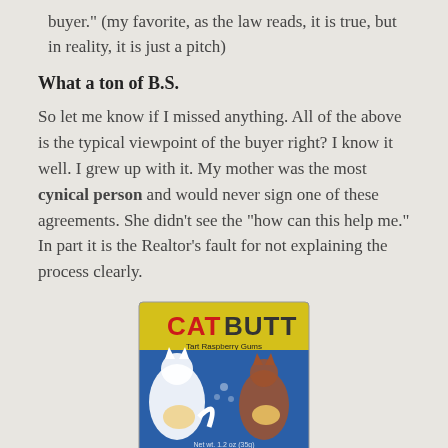buyer.” (my favorite, as the law reads, it is true, but in reality, it is just a pitch)
What a ton of B.S.
So let me know if I missed anything. All of the above is the typical viewpoint of the buyer right? I know it well. I grew up with it. My mother was the most cynical person and would never sign one of these agreements. She didn’t see the “how can this help me.” In part it is the Realtor’s fault for not explaining the process clearly.
[Figure (photo): Product box of 'Cat Butt Tart Raspberry Gums' novelty candy with cartoon cat images on a blue and yellow tin.]